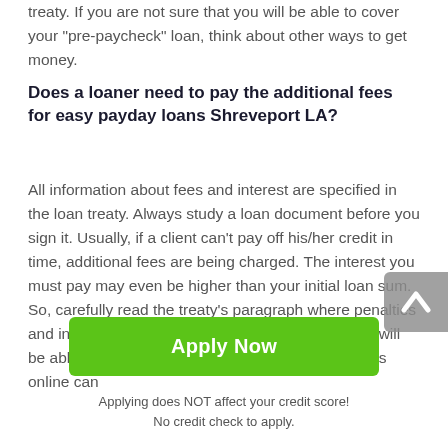treaty. If you are not sure that you will be able to cover your "pre-paycheck" loan, think about other ways to get money.
Does a loaner need to pay the additional fees for easy payday loans Shreveport LA?
All information about fees and interest are specified in the loan treaty. Always study a loan document before you sign it. Usually, if a client can't pay off his/her credit in time, additional fees are being charged. The interest you must pay may even be higher than your initial loan sum. So, carefully read the treaty's paragraph where penalties and interest are described. If you are sure that you will be able to cover your loan. Shreveport payday loans online can
[Figure (other): Green 'Apply Now' call-to-action button]
Applying does NOT affect your credit score!
No credit check to apply.